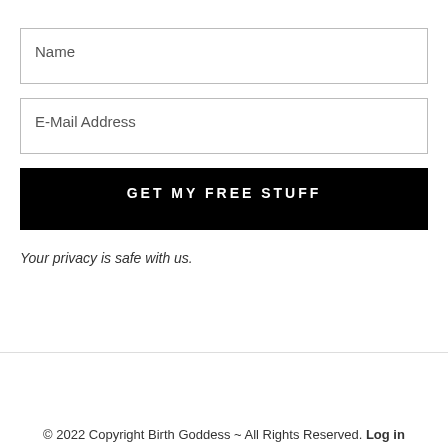Name
E-Mail Address
GET MY FREE STUFF
Your privacy is safe with us.
© 2022 Copyright Birth Goddess ~ All Rights Reserved. Log in